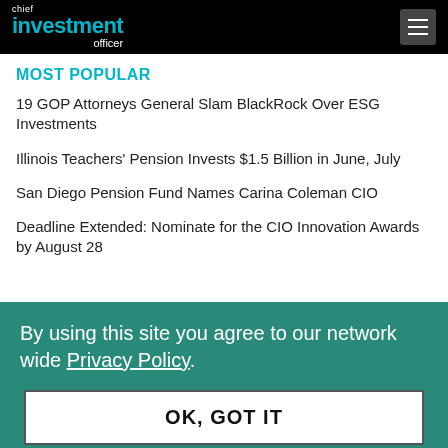chief investment officer
MOST POPULAR
19 GOP Attorneys General Slam BlackRock Over ESG Investments
Illinois Teachers' Pension Invests $1.5 Billion in June, July
San Diego Pension Fund Names Carina Coleman CIO
Deadline Extended: Nominate for the CIO Innovation Awards by August 28
By using this site you agree to our network wide Privacy Policy.
OK, GOT IT